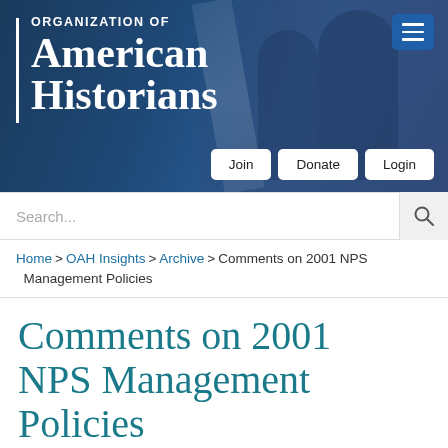[Figure (logo): Organization of American Historians website header banner with dark navy blue background showing a historical photograph, the OAH logo and name in white, a hamburger menu icon, and Join/Donate/Login navigation buttons]
Search...
Home > OAH Insights > Archive > Comments on 2001 NPS Management Policies
Comments on 2001 NPS Management Policies
The Organization of American Historians submitted